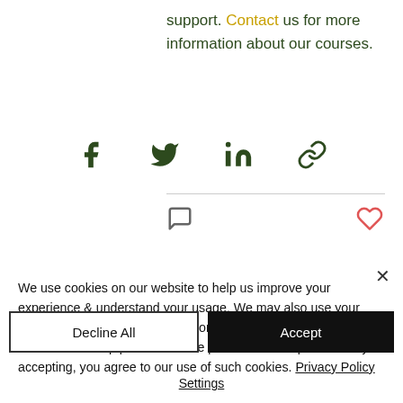support. Contact us for more information about our courses.
[Figure (other): Social share icons: Facebook, Twitter, LinkedIn, link/copy]
[Figure (other): Comment icon (left) and heart/like icon (right)]
We use cookies on our website to help us improve your experience & understand your usage. We may also use your browsing actions to show you more relevant ads via Google and Facebook to help provide a more personalised experience. By accepting, you agree to our use of such cookies. Privacy Policy
Decline All
Accept
Settings